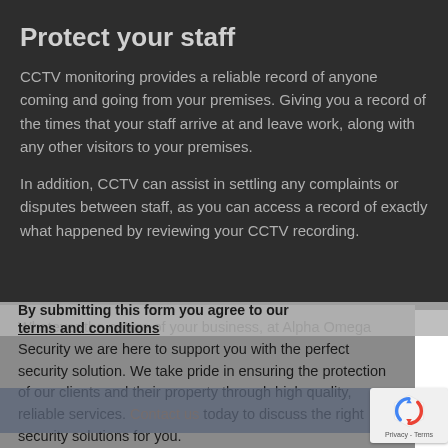Protect your staff
CCTV monitoring provides a reliable record of anyone coming and going from your premises. Giving you a record of the times that your staff arrive at and leave work, along with any other visitors to your premises.
In addition, CCTV can assist in settling any complaints or disputes between staff, as you can access a record of exactly what happened by reviewing your CCTV recording.
By submitting this form you agree to our terms and conditions
Whatever the nature of your business, at Alpha Omega Security we are here to support you with the perfect security solution. We take pride in ensuring the protection of our clients and their property through high quality, reliable services. Contact us today to discuss the right security solutions for you.